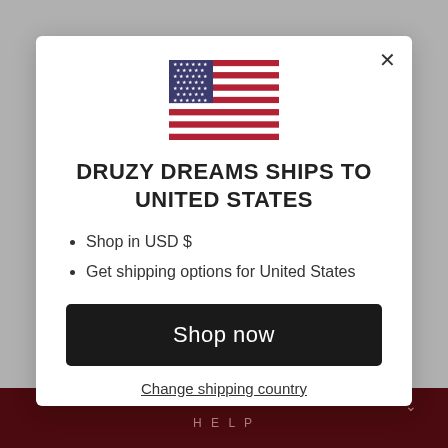[Figure (illustration): US flag SVG icon]
DRUZY DREAMS SHIPS TO UNITED STATES
Shop in USD $
Get shipping options for United States
Shop now
Change shipping country
HELP